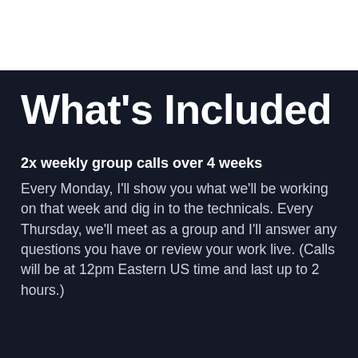What's Included
2x weekly group calls over 4 weeks
Every Monday, I'll show you what we'll be working on that week and dig in to the technicals. Every Thursday, we'll meet as a group and I'll answer any questions you have or review your work live. (Calls will be at 12pm Eastern US time and last up to 2 hours.)